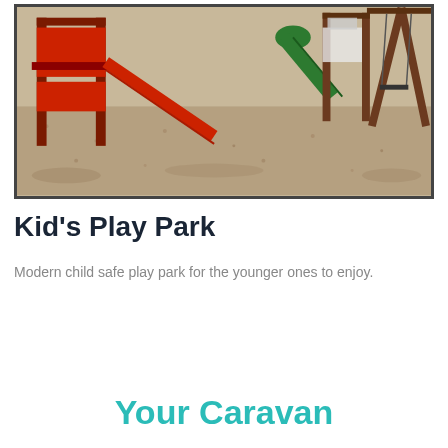[Figure (photo): Outdoor children's playground with red climbing structure, red slide, wooden swing set frame, and gravel ground surface. Sunny day.]
Kid's Play Park
Modern child safe play park for the younger ones to enjoy.
Your Caravan